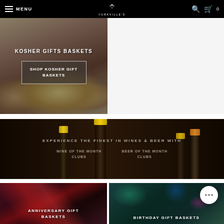MENU | YORKVILLE'S | [search] [cart] 0
[Figure (photo): Kosher gift baskets promotional image showing baked bread/challah with overlay text]
KOSHER GIFTS BASKETS
SHOP KOSHER GIFT BASKETS
[Figure (photo): Wine and beer bottles in a wooden crate on dark background]
EXPERIENCE THE FINEST IN WINES & BEER WITH
WINE OF THE MONTH CLUBS
BEER OF THE MONTH CLUBS
[Figure (photo): Anniversary gift baskets promotional image showing red ribbon/bow on dark background]
ANNIVERSARY GIFT BASKETS
[Figure (photo): Birthday gift baskets promotional image showing colorful ribbons on dark background]
BIRTHDAY GIFT BASKETS